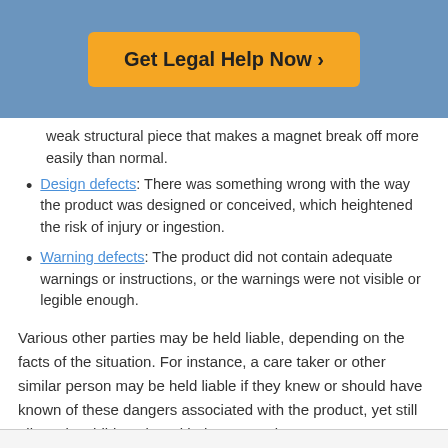[Figure (other): Orange 'Get Legal Help Now >' button on blue background header]
weak structural piece that makes a magnet break off more easily than normal.
Design defects: There was something wrong with the way the product was designed or conceived, which heightened the risk of injury or ingestion.
Warning defects: The product did not contain adequate warnings or instructions, or the warnings were not visible or legible enough.
Various other parties may be held liable, depending on the facts of the situation. For instance, a care taker or other similar person may be held liable if they knew or should have known of these dangers associated with the product, yet still allowed a child to play with the magnetic toy.